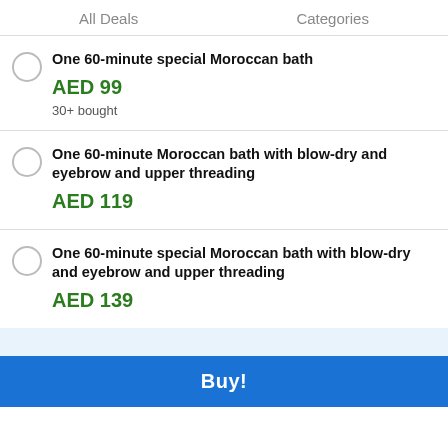All Deals    Categories
One 60-minute special Moroccan bath
AED 99
30+ bought
One 60-minute Moroccan bath with blow-dry and eyebrow and upper threading
AED 119
One 60-minute special Moroccan bath with blow-dry and eyebrow and upper threading
AED 139
Buy!